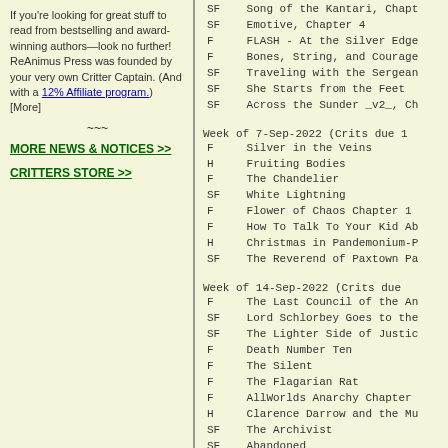If you're looking for great stuff to read from bestselling and award-winning authors—look no further! ReAnimus Press was founded by your very own Critter Captain. (And with a 12% Affiliate program.) [More]
~~~
MORE NEWS & NOTICES >>
CRITTERS STORE >>
SF  Song of the Kantari, Chapt...
SF  Emotive, Chapter 4
F   FLASH - At the Silver Edge
F   Bones, String, and Courage
SF  Traveling with the Sergean...
SF  She Starts from the Feet
SF  Across the Sunder _v2_, Ch...
Week of 7-Sep-2022 (Crits due 1...
F   Silver in the Veins
H   Fruiting Bodies
F   The Chandelier
SF  White Lightning
F   Flower of Chaos Chapter 1...
F   How To Talk To Your Kid Ab...
H   Christmas in Pandemonium-P...
SF  The Reverend of Paxtown Pa...
Week of 14-Sep-2022 (Crits due ...
F   The Last Council of the An...
SF  Lord Schlorbey Goes to the...
SF  The Lighter Side of Justic...
F   Death Number Ten
F   The Silent
F   The Flagarian Rat
F   AllWorlds Anarchy Chapter ...
H   Clarence Darrow and the Mu...
SF  The Archivist
SF  Abandoned